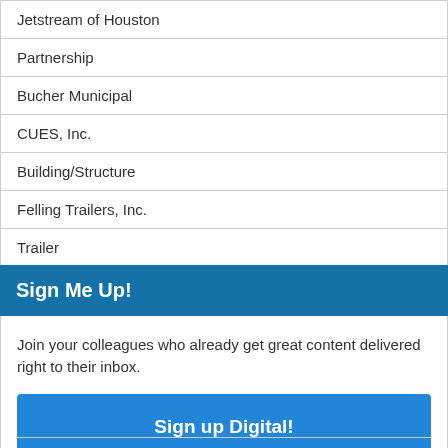| Jetstream of Houston |
| Partnership |
| Bucher Municipal |
| CUES, Inc. |
| Building/Structure |
| Felling Trailers, Inc. |
| Trailer |
Sign Me Up!
Join your colleagues who already get great content delivered right to their inbox.
Sign up Digital!